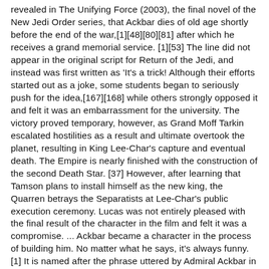revealed in The Unifying Force (2003), the final novel of the New Jedi Order series, that Ackbar dies of old age shortly before the end of the war,[1][48][80][81] after which he receives a grand memorial service. [1][53] The line did not appear in the original script for Return of the Jedi, and instead was first written as 'It's a trick! Although their efforts started out as a joke, some students began to seriously push for the idea,[167][168] while others strongly opposed it and felt it was an embarrassment for the university. The victory proved temporary, however, as Grand Moff Tarkin escalated hostilities as a result and ultimate overtook the planet, resulting in King Lee-Char's capture and eventual death. The Empire is nearly finished with the construction of the second Death Star. [37] However, after learning that Tamson plans to install himself as the new king, the Quarren betrays the Separatists at Lee-Char's public execution ceremony. Lucas was not entirely pleased with the final result of the character in the film and felt it was a compromise. ... Ackbar became a character in the process of building him. No matter what he says, it's always funny. [1] It is named after the phrase uttered by Admiral Ackbar in the Star Wars film Return of the Jedi. The reasons for this vary. The attack, known as the Battle of Endor, involves General Han